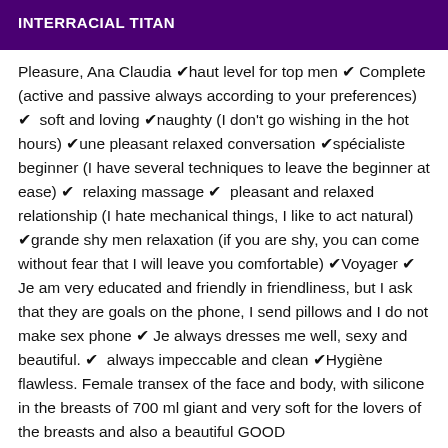INTERRACIAL TITAN
Pleasure, Ana Claudia ✔haut level for top men ✔ Complete (active and passive always according to your preferences) ✔  soft and loving ✔naughty (I don't go wishing in the hot hours) ✔une pleasant relaxed conversation ✔spécialiste beginner (I have several techniques to leave the beginner at ease) ✔  relaxing massage ✔  pleasant and relaxed relationship (I hate mechanical things, I like to act natural) ✔grande shy men relaxation (if you are shy, you can come without fear that I will leave you comfortable) ✔Voyager ✔ Je am very educated and friendly in friendliness, but I ask that they are goals on the phone, I send pillows and I do not make sex phone ✔ Je always dresses me well, sexy and beautiful. ✔  always impeccable and clean ✔Hygiène flawless. Female transex of the face and body, with silicone in the breasts of 700 ml giant and very soft for the lovers of the breasts and also a beautiful GOOD